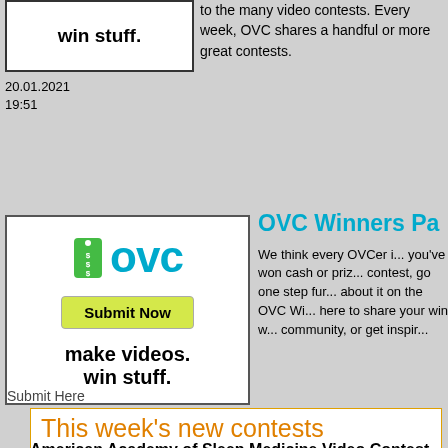[Figure (screenshot): OVC logo banner showing 'make videos. win stuff.' text in a white box]
20.01.2021
19:51
to the many video contests. Every week, OVC shares a handful or more great contests.
[Figure (logo): OVC logo with green price tag icon, cyan OVC letters, yellow Submit Now button, and tagline 'make videos. win stuff.' in black]
OVC Winners Pa...
We think every OVCer i... you've won cash or priz... contest, go one step fur... about it on the OVC Wi... here to share your win w... community, or get inspir...
Submit Here
This week's new contests
American Academy of Sleep Medicine Video Contest